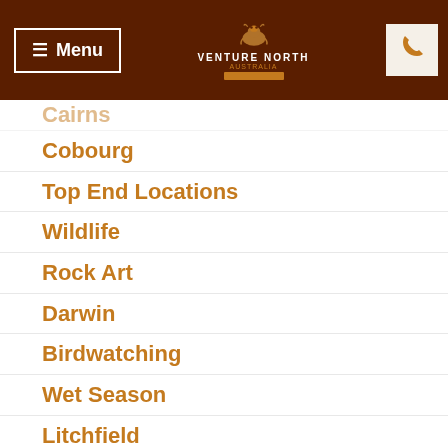Menu | Venture North Australia
Cobourg
Top End Locations
Wildlife
Rock Art
Darwin
Birdwatching
Wet Season
Litchfield
Waterfalls
Environment
Hiking
Kimberley
family
kids